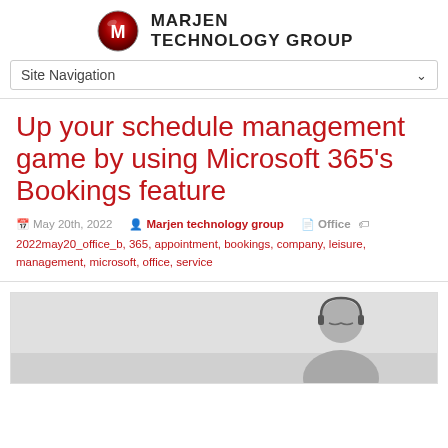MARJEN TECHNOLOGY GROUP
Site Navigation
Up your schedule management game by using Microsoft 365's Bookings feature
May 20th, 2022   Marjen technology group   Office   2022may20_office_b, 365, appointment, bookings, company, leisure, management, microsoft, office, service
[Figure (photo): Photo of a person wearing a headset, visible from shoulders up, against a light grey background]